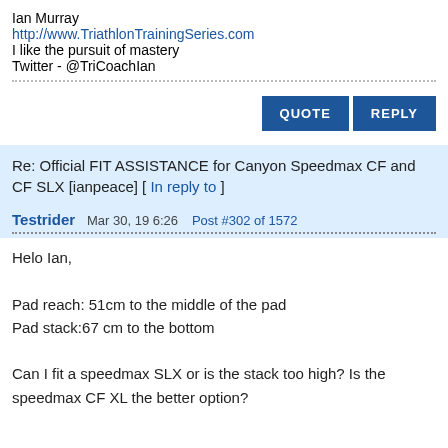Ian Murray
http://www.TriathlonTrainingSeries.com
I like the pursuit of mastery
Twitter - @TriCoachIan
QUOTE   REPLY
Re: Official FIT ASSISTANCE for Canyon Speedmax CF and CF SLX [ianpeace] [ In reply to ]
Testrider  Mar 30, 19 6:26  Post #302 of 1572
Helo Ian,

Pad reach: 51cm to the middle of the pad
Pad stack:67 cm to the bottom

Can I fit a speedmax SLX or is the stack too high? Is the speedmax CF XL the better option?